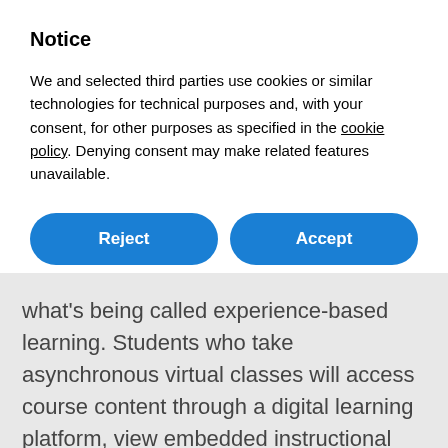Notice
We and selected third parties use cookies or similar technologies for technical purposes and, with your consent, for other purposes as specified in the cookie policy. Denying consent may make related features unavailable.
Reject
Accept
Learn more and customize
what's being called experience-based learning. Students who take asynchronous virtual classes will access course content through a digital learning platform, view embedded instructional videos, participate in digital simulations, practice